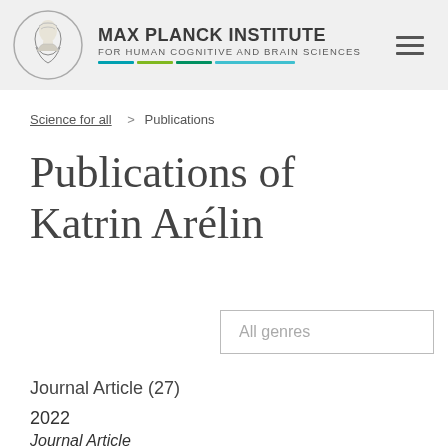[Figure (logo): Max Planck Institute logo with circular emblem showing a profile bust, header bar with institute name, colored lines, and hamburger menu icon]
Science for all  >  Publications
Publications of Katrin Arélin
All genres
Journal Article (27)
2022
Journal Article